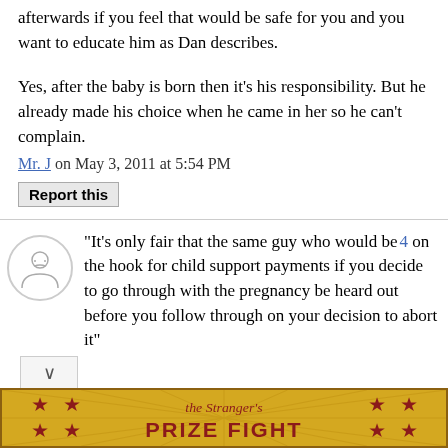afterwards if you feel that would be safe for you and you want to educate him as Dan describes.
Yes, after the baby is born then it's his responsibility. But he already made his choice when he came in her so he can't complain.
Mr. J on May 3, 2011 at 5:54 PM
Report this
"It's only fair that the same guy who would be 4 on the hook for child support payments if you decide to go through with the pregnancy be heard out before you follow through on your decision to abort it"
[Figure (other): The Stranger's Prize Fight advertisement banner with red stars and gold background]